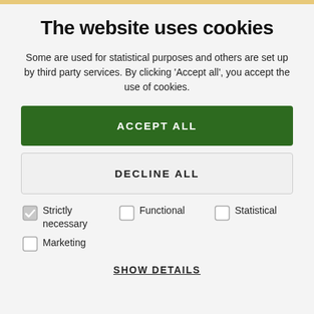The website uses cookies
Some are used for statistical purposes and others are set up by third party services. By clicking 'Accept all', you accept the use of cookies.
ACCEPT ALL
DECLINE ALL
Strictly necessary (checked)
Functional
Statistical
Marketing
SHOW DETAILS